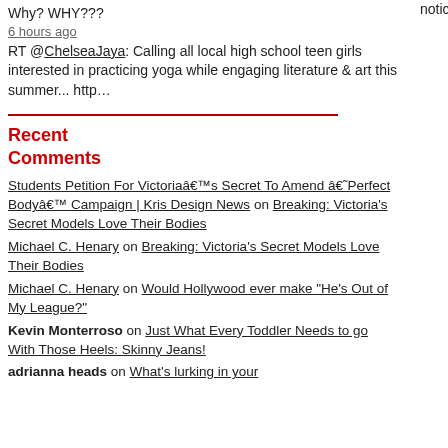Why? WHY???
6 hours ago
RT @ChelseaJaya: Calling all local high school teen girls interested in practicing yoga while engaging literature & art this summer... http…
Recent Comments
Students Petition For Victoriaâ€™s Secret To Amend â€˜Perfect Bodyâ€™ Campaign | Kris Design News on Breaking: Victoria's Secret Models Love Their Bodies
Michael C. Henary on Breaking: Victoria's Secret Models Love Their Bodies
Michael C. Henary on Would Hollywood ever make "He's Out of My League?"
Kevin Monterroso on Just What Every Toddler Needs to go With Those Heels: Skinny Jeans!
adrianna heads on What's lurking in your ...